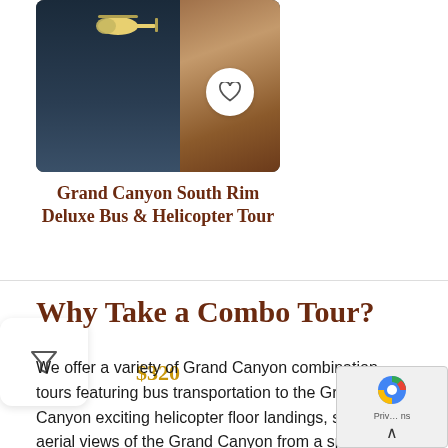[Figure (photo): Aerial photo of Grand Canyon with helicopter visible, rocky canyon walls and dark water below]
Grand Canyon South Rim Deluxe Bus & Helicopter Tour
$320
Why Take a Combo Tour?
We offer a variety of Grand Canyon combination tours featuring bus transportation to the Grand Canyon exciting helicopter floor landings, stunning aerial views of the Grand Canyon from a specially designed